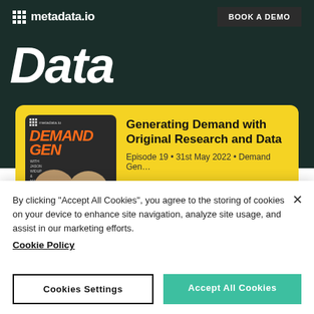metadata.io   BOOK A DEMO
Data
[Figure (screenshot): Podcast player card on yellow background showing 'Demand Gen' podcast artwork with two hosts, titled 'Generating Demand with Original Research and Data', Episode 19, 31st May 2022, Demand Gen..., with timestamps 00:00:00 and 00:39:19]
By clicking “Accept All Cookies”, you agree to the storing of cookies on your device to enhance site navigation, analyze site usage, and assist in our marketing efforts.
Cookie Policy
Cookies Settings
Accept All Cookies